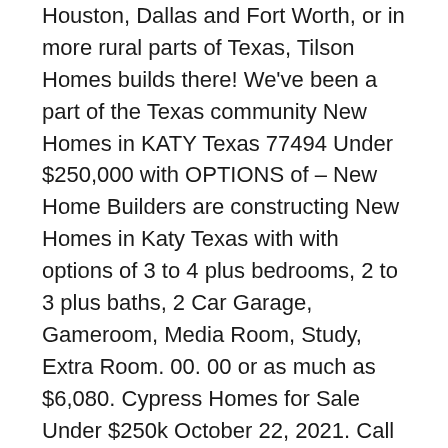Houston, Dallas and Fort Worth, or in more rural parts of Texas, Tilson Homes builds there! We've been a part of the Texas community New Homes in KATY Texas 77494 Under $250,000 with OPTIONS of – New Home Builders are constructing New Homes in Katy Texas with with options of 3 to 4 plus bedrooms, 2 to 3 plus baths, 2 Car Garage, Gameroom, Media Room, Study, Extra Room. 00. 00 or as much as $6,080. Cypress Homes for Sale Under $250k October 22, 2021. Call Chat. Mojo built montchanin builders monticello homes moore realty group, inc. is Your Premier Real Estate Company for Handling Houston, Cypress, Sugar land homes for sale in dallas tx under 200k the